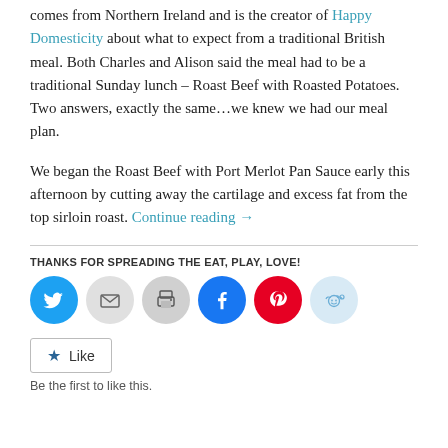comes from Northern Ireland and is the creator of Happy Domesticity about what to expect from a traditional British meal. Both Charles and Alison said the meal had to be a traditional Sunday lunch – Roast Beef with Roasted Potatoes. Two answers, exactly the same…we knew we had our meal plan.
We began the Roast Beef with Port Merlot Pan Sauce early this afternoon by cutting away the cartilage and excess fat from the top sirloin roast. Continue reading →
THANKS FOR SPREADING THE EAT, PLAY, LOVE!
[Figure (infographic): Social sharing icons: Twitter (blue), Email (gray), Print (gray), Facebook (blue), Pinterest (red), Reddit (light blue)]
Like
Be the first to like this.